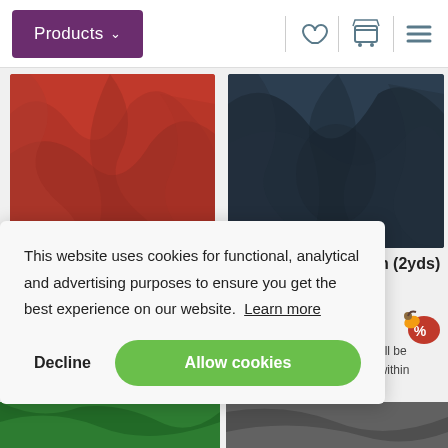Products ▾
[Figure (photo): Red crinkle ribbon fabric, close-up]
Mater Samich Crinkle Ribbon (2yds)
[Figure (photo): Black crinkle ribbon fabric, close-up]
Black Crinkle Ribbon (2yds)
$3.75 (-25%)
This website uses cookies for functional, analytical and advertising purposes to ensure you get the best experience on our website. Learn more
Decline
Allow cookies